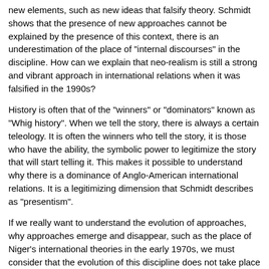new elements, such as new ideas that falsify theory. Schmidt shows that the presence of new approaches cannot be explained by the presence of this context, there is an underestimation of the place of "internal discourses" in the discipline. How can we explain that neo-realism is still a strong and vibrant approach in international relations when it was falsified in the 1990s?
History is often that of the "winners" or "dominators" known as "Whig history". When we tell the story, there is always a certain teleology. It is often the winners who tell the story, it is those who have the ability, the symbolic power to legitimize the story that will start telling it. This makes it possible to understand why there is a dominance of Anglo-American international relations. It is a legitimizing dimension that Schmidt describes as "presentism".
If we really want to understand the evolution of approaches, why approaches emerge and disappear, such as the place of Niger's international theories in the early 1970s, we must consider that the evolution of this discipline does not take place because events happen. Discipline sometimes evolves because people talk to each other, they are internal discourses. External elements do not